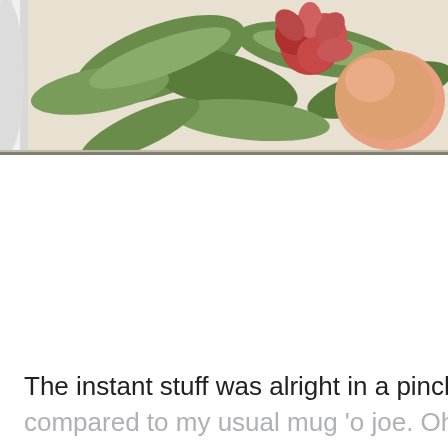[Figure (photo): A cropped photo of a decorative mug or plate featuring painted botanical artwork with green leaves, a red/pink flower, and peach-colored fruit on a light background. The left edge shows the white rim of the ceramic piece.]
The instant stuff was alright in a pinch, but it was defin
compared to my usual mug 'o joe. Ohh, how I missed t